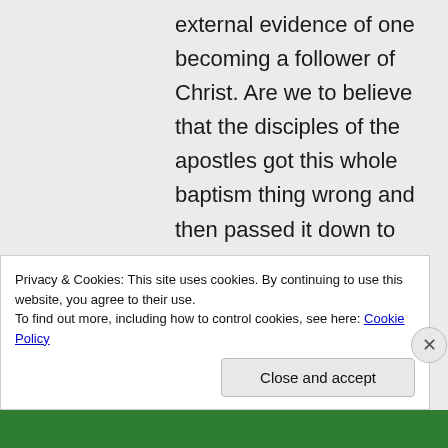external evidence of one becoming a follower of Christ. Are we to believe that the disciples of the apostles got this whole baptism thing wrong and then passed it down to their followers in the same incorrect manner? As protestants we must believe that they got it wrong, and 1500 years later Luther got it
Privacy & Cookies: This site uses cookies. By continuing to use this website, you agree to their use.
To find out more, including how to control cookies, see here: Cookie Policy
Close and accept